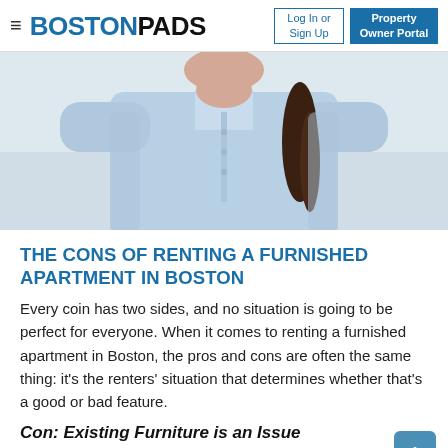BOSTONPADS — Log In or Sign Up | Property Owner Portal
[Figure (photo): Cropped photo of a person wearing a light blue button-down shirt with long dark braided hair, upper torso visible against a light background.]
THE CONS OF RENTING A FURNISHED APARTMENT IN BOSTON
Every coin has two sides, and no situation is going to be perfect for everyone. When it comes to renting a furnished apartment in Boston, the pros and cons are often the same thing: it's the renters' situation that determines whether that's a good or bad feature.
Con: Existing Furniture is an Issue